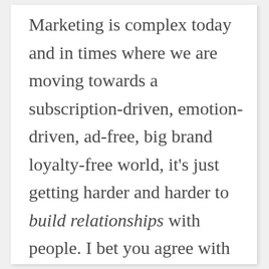Marketing is complex today and in times where we are moving towards a subscription-driven, emotion-driven, ad-free, big brand loyalty-free world, it's just getting harder and harder to build relationships with people. I bet you agree with me and today companies and the marketing firms need to learn